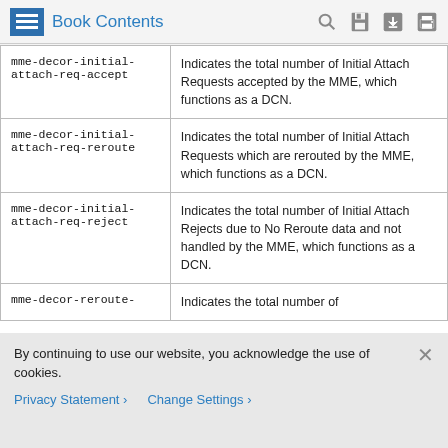Book Contents
| Command/Statistic | Description |
| --- | --- |
| mme-decor-initial-attach-req-accept | Indicates the total number of Initial Attach Requests accepted by the MME, which functions as a DCN. |
| mme-decor-initial-attach-req-reroute | Indicates the total number of Initial Attach Requests which are rerouted by the MME, which functions as a DCN. |
| mme-decor-initial-attach-req-reject | Indicates the total number of Initial Attach Rejects due to No Reroute data and not handled by the MME, which functions as a DCN. |
| mme-decor-reroute- | Indicates the total number of |
By continuing to use our website, you acknowledge the use of cookies.
Privacy Statement >   Change Settings >